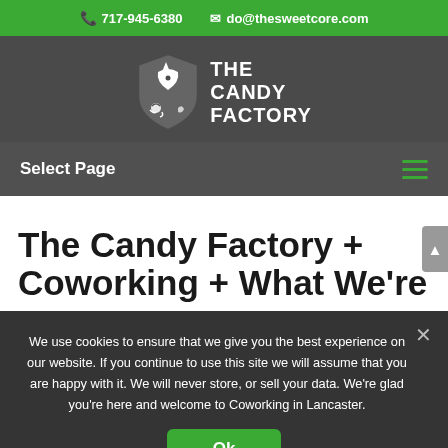717-945-6380  do@thesweetcore.com
[Figure (logo): The Candy Factory logo — shield with unicorn and candy icons, text THE CANDY FACTORY]
Select Page
The Candy Factory + Coworking + What We're About. The Candy Factory Coworking Space in Lancaster...
We use cookies to ensure that we give you the best experience on our website. If you continue to use this site we will assume that you are happy with it. We will never store, or sell your data. We're glad you're here and welcome to Coworking in Lancaster.
Ok